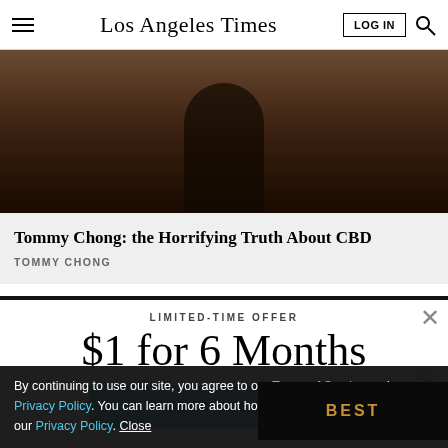Los Angeles Times
[Figure (photo): Dark photo of person (Tommy Chong) in a dim, warm-toned room]
Tommy Chong: the Horrifying Truth About CBD
TOMMY CHONG
LIMITED-TIME OFFER
$1 for 6 Months
SUBSCRIBE NOW
By continuing to use our site, you agree to our Terms of Service and Privacy Policy. You can learn more about how we use cookies by reviewing our Privacy Policy. Close